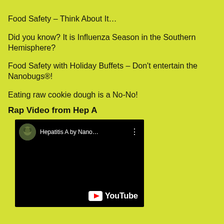Food Safety – Think About It…
Did you know? It is Influenza Season in the Southern Hemisphere?
Food Safety with Holiday Buffets – Don't entertain the Nanobugs®!
Eating raw cookie dough is a No-No!
Rap Video from Hep A
[Figure (screenshot): YouTube video embed showing 'Hepatitis A by Nano...' with a circular avatar thumbnail, three-dot menu icon, and YouTube logo in the lower right corner on a black background.]